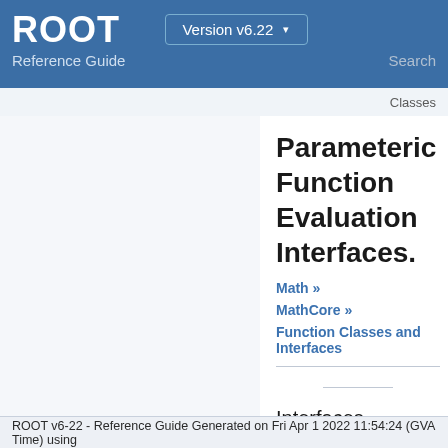ROOT Reference Guide Version v6.22 Search
Classes
Parameteric Function Evaluation Interfaces.
Math »
MathCore »
Function Classes and Interfaces
Interfaces classes
ROOT v6-22 - Reference Guide Generated on Fri Apr 1 2022 11:54:24 (GVA Time) using